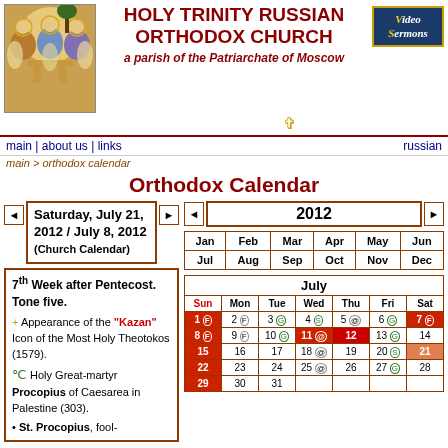[Figure (illustration): Russian Orthodox icon showing three angels seated at a table (Trinity icon)]
HOLY TRINITY RUSSIAN ORTHODOX CHURCH
a parish of the Patriarchate of Moscow
[Figure (logo): Video Sermons logo button with dark blue background]
main | about us | links    russian
main > orthodox calendar
Orthodox Calendar
Saturday, July 21, 2012 / July 8, 2012 (Church Calendar)
2012
7th Week after Pentecost. Tone five.
+ Appearance of the "Kazan" Icon of the Most Holy Theotokos (1579). Holy Great-martyr Procopius of Caesarea in Palestine (303). St. Procopius, fool-
| Jan | Feb | Mar | Apr | May | Jun | Jul | Aug | Sep | Oct | Nov | Dec |
| --- | --- | --- | --- | --- | --- | --- | --- | --- | --- | --- | --- |
| Sun | Mon | Tue | Wed | Thu | Fri | Sat |
| --- | --- | --- | --- | --- | --- | --- |
| 1 F | 2 F | 3 | 4 | 5 | 6 | 7 F |
| 8 F | 9 F | 10 | 11 | 12 | 13 | 14 |
| 15 | 16 | 17 | 18 | 19 | 20 | 21 |
| 22 | 23 | 24 | 25 | 26 | 27 | 28 |
| 29 | 30 | 31 |  |  |  |  |